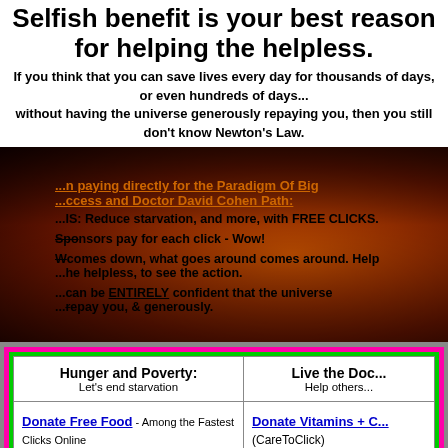Selfish benefit is your best reason for helping the helpless.
If you think that you can save lives every day for thousands of days, or even hundreds of days... without having the universe generously repaying you, then you still don't know Newton's Law.
[Figure (illustration): Dark orange/red textured background with overlaid bold text describing paying directly for the Paradigm Of Big Success and Doctor David Cohen Path. Text mentions reducing starvation with FREE CLICKS, sponsors paying for each click, what goes around comes around, helping the helpless, and being ENTIRELY confident the universe will repay you generously.]
| Hunger and Poverty:
Let's end starvation | Live the Doc...
Help others... |
| --- | --- |
| Donate Free Food - Among the Fastest Clicks Online
Feed Hungry in Brazil | Donate Vitamins + C... (CareToClick) |